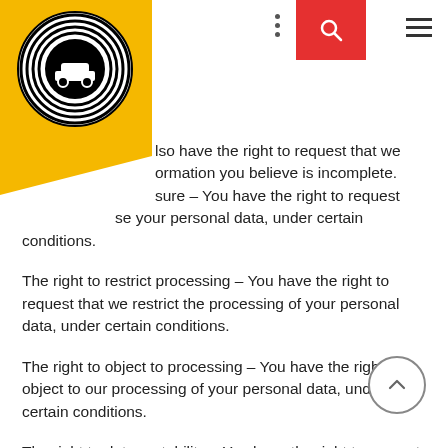[Figure (logo): Car logo — black circular emblem with concentric rings and a classic car silhouette, on a yellow/gold background]
…also have the right to request that we [correct inf]ormation you believe is incomplete.
[Era]sure – You have the right to request [that we er]ase your personal data, under certain conditions.
The right to restrict processing – You have the right to request that we restrict the processing of your personal data, under certain conditions.
The right to object to processing – You have the right to object to our processing of your personal data, under certain conditions.
The right to data portability – You have the right to request that we transfer the data that we have collected to another organization, or directly to you